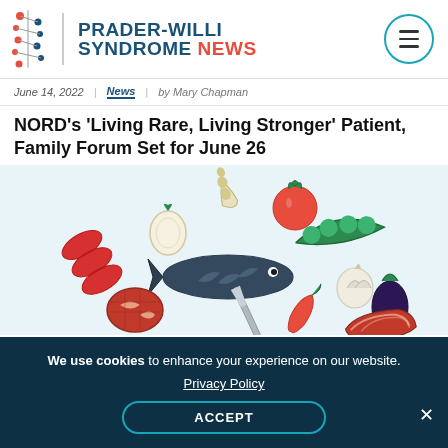PRADER-WILLI SYNDROME NEWS
June 14, 2022 | News | by Mary Chapman
NORD's 'Living Rare, Living Stronger' Patient, Family Forum Set for June 26
[Figure (illustration): Illustration of various food items including sausages, fish, vegetables (tomato, peas, garlic, eggplant, chili), lemon, and meat on a light blue background]
We use cookies to enhance your experience on our website.
Privacy Policy
ACCEPT